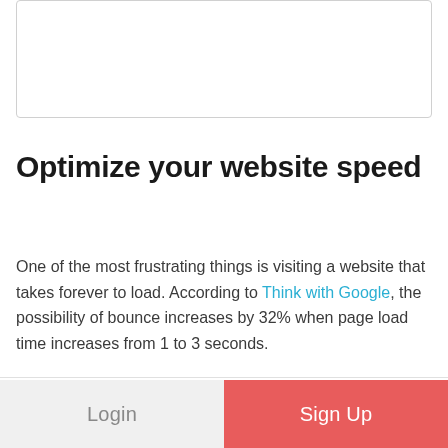[Figure (other): Empty white box with light gray border at top of page]
Optimize your website speed
One of the most frustrating things is visiting a website that takes forever to load. According to Think with Google, the possibility of bounce increases by 32% when page load time increases from 1 to 3 seconds.
Login
Sign Up